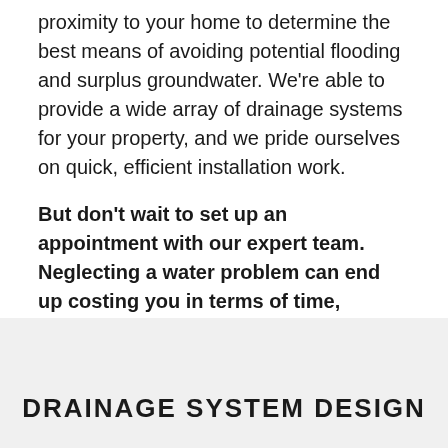proximity to your home to determine the best means of avoiding potential flooding and surplus groundwater. We're able to provide a wide array of drainage systems for your property, and we pride ourselves on quick, efficient installation work.
But don't wait to set up an appointment with our expert team. Neglecting a water problem can end up costing you in terms of time, money, and aggravation. Call us today to schedule your estimate.
DRAINAGE SYSTEM DESIGN